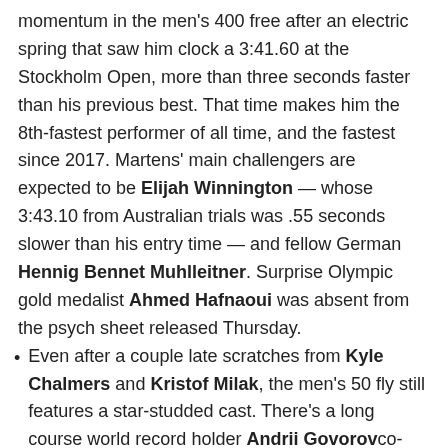momentum in the men's 400 free after an electric spring that saw him clock a 3:41.60 at the Stockholm Open, more than three seconds faster than his previous best. That time makes him the 8th-fastest performer of all time, and the fastest since 2017. Martens' main challengers are expected to be Elijah Winnington — whose 3:43.10 from Australian trials was .55 seconds slower than his entry time — and fellow German Hennig Bennet Muhlleitner. Surprise Olympic gold medalist Ahmed Hafnaoui was absent from the psych sheet released Thursday.
Even after a couple late scratches from Kyle Chalmers and Kristof Milak, the men's 50 fly still features a star-studded cast. There's a long course world record holder Andrii Govorov co-short course world record holders Nicholas Santos and Szebasztian Szabo, and the last three long course world champions: Caeleb Dressel (2019), Ben Proud (2017), and Florent Manaudou (2015). And that's without mentioning Michael Andrewwho was just 02